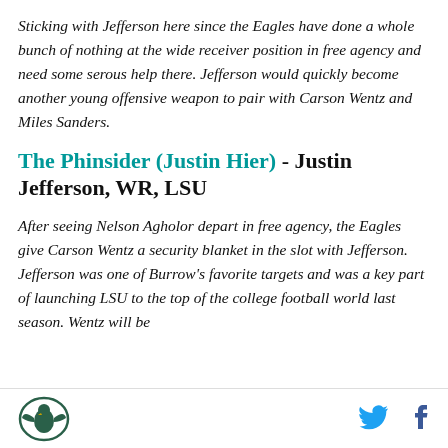Sticking with Jefferson here since the Eagles have done a whole bunch of nothing at the wide receiver position in free agency and need some serous help there. Jefferson would quickly become another young offensive weapon to pair with Carson Wentz and Miles Sanders.
The Phinsider (Justin Hier) - Justin Jefferson, WR, LSU
After seeing Nelson Agholor depart in free agency, the Eagles give Carson Wentz a security blanket in the slot with Jefferson. Jefferson was one of Burrow's favorite targets and was a key part of launching LSU to the top of the college football world last season. Wentz will be
[logo] [twitter] [facebook]